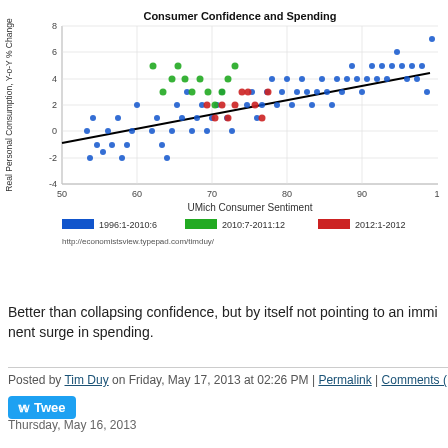[Figure (continuous-plot): Scatter plot with a fitted trend line showing UMich Consumer Sentiment (x-axis, 50-100+) vs Real Personal Consumption Y-o-Y % Change (y-axis, -4 to 8). Three colored series: blue=1996:1-2010:6, green=2010:7-2011:12, red=2012:1-2012. Positive trend line from lower-left to upper-right. URL: http://economistsview.typepad.com/timduy/]
Better than collapsing confidence, but by itself not pointing to an imminent surge in spending.
Posted by Tim Duy on Friday, May 17, 2013 at 02:26 PM | Permalink | Comments (
Thursday, May 16, 2013
Busy Data Day